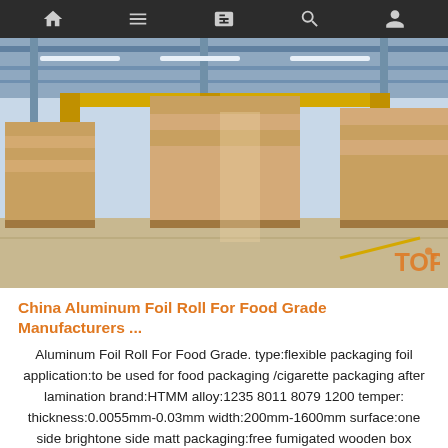Navigation bar with home, menu, card, search, and profile icons
[Figure (photo): Interior of a large industrial warehouse with aluminum sheets stacked on wooden pallets, yellow overhead crane visible, metal roof structure with fluorescent lighting]
China Aluminum Foil Roll For Food Grade Manufacturers ...
Aluminum Foil Roll For Food Grade. type:flexible packaging foil application:to be used for food packaging /cigarette packaging after lamination brand:HTMM alloy:1235 8011 8079 1200 temper: thickness:0.0055mm-0.03mm width:200mm-1600mm surface:one side brightone side matt packaging:free fumigated wooden box